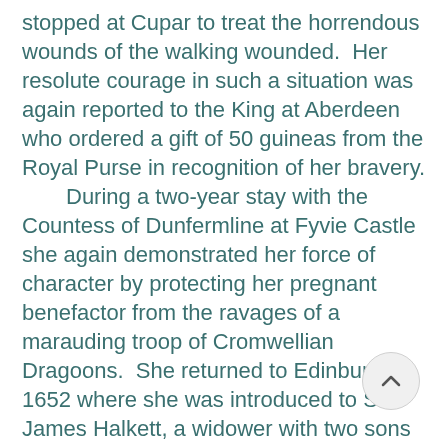stopped at Cupar to treat the horrendous wounds of the walking wounded.  Her resolute courage in such a situation was again reported to the King at Aberdeen who ordered a gift of 50 guineas from the Royal Purse in recognition of her bravery.
    During a two-year stay with the Countess of Dunfermline at Fyvie Castle she again demonstrated her force of character by protecting her pregnant benefactor from the ravages of a marauding troop of Cromwellian Dragoons.  She returned to Edinburgh in 1652 where she was introduced to Sir James Halkett, a widower with two sons and two daughters.  Sir James was deeply impressed by the beauty and by now legendary courage of this Royalist heroine, a legend further enhanced by her dangerous night crossing of the Forth to warn the royalist Lord Balcarres and his wife of their impending arrest, thereby enabling